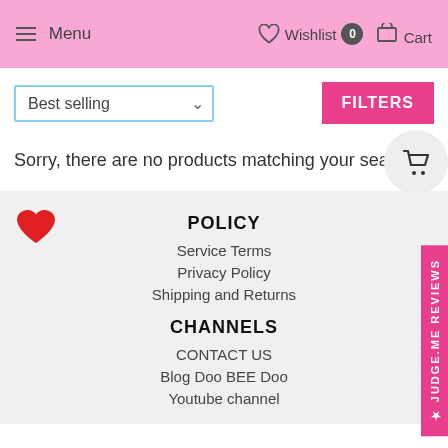Menu   Wishlist 0   Cart
Best selling
FILTERS
Sorry, there are no products matching your search.
POLICY
Service Terms
Privacy Policy
Shipping and Returns
CHANNELS
CONTACT US
Blog Doo BEE Doo
Youtube channel